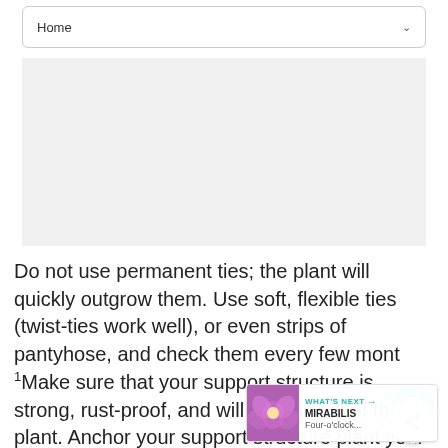Home
[Figure (other): Gray advertisement/image placeholder area]
Do not use permanent ties; the plant will quickly outgrow them. Use soft, flexible ties (twist-ties work well), or even strips of pantyhose, and check them every few mont Make sure that your support structure is strong, rust-proof, and will last the life of the plant. Anchor your support structure plant your climber.
[Figure (infographic): WHAT'S NEXT callout box with flower image showing MIRABILIS Four-o'clock...]